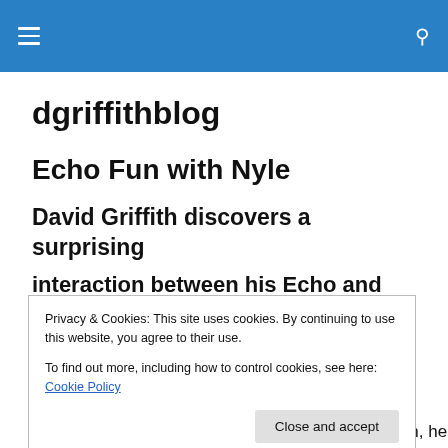dgriffithblog — navigation header with hamburger menu and search icon
dgriffithblog
Echo Fun with Nyle
David Griffith discovers a surprising
interaction between his Echo and his
Privacy & Cookies: This site uses cookies. By continuing to use this website, you agree to their use.
To find out more, including how to control cookies, see here: Cookie Policy
technology. He shows little interest in our Television, he